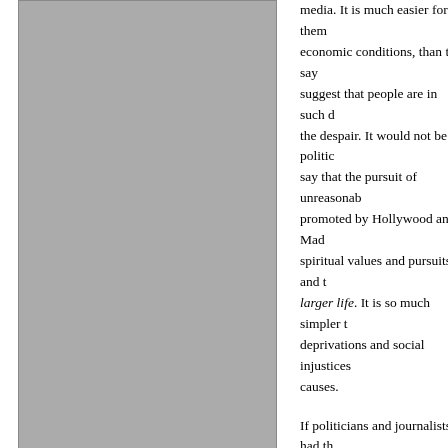[Figure (photo): Large grey rectangular image or placeholder occupying the left portion of the page]
media. It is much easier for them economic conditions, than to say suggest that people are in such d the despair. It would not be politic say that the pursuit of unreasonab promoted by Hollywood and Mad spiritual values and pursuits and t larger life. It is so much simpler t deprivations and social injustices causes.
If politicians and journalists had th existential issues, they'd suffer re psychology professor Steven Pinh afterlife is a malignant delusion, s discourages action that would ma of our more right-wing politicians their fundamentalist beliefs are in very persuasive to rational people
I don't know what the answer is a Avenue influences continue to en unreasonable comforts, luxuries, that they deserve them and need Perhaps that is what the pandem expectations.